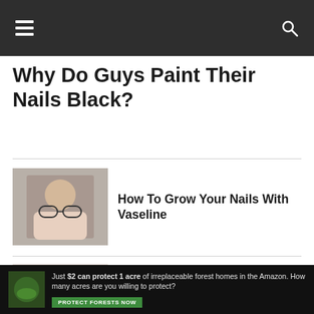Navigation bar with hamburger menu and search icon
Why Do Guys Paint Their Nails Black?
[Figure (photo): Woman holding eyeglasses toward the camera]
How To Grow Your Nails With Vaseline
[Figure (photo): Hands holding a seashell with painted nails]
How To Grow Nails Fast With Toothpaste
[Figure (photo): Partially visible article image - dark background]
Best Women's
No compatible source was found for this
[Figure (photo): Ad banner: forest/Amazon conservation ad with green button]
Just $2 can protect 1 acre of irreplaceable forest homes in the Amazon. How many acres are you willing to protect?